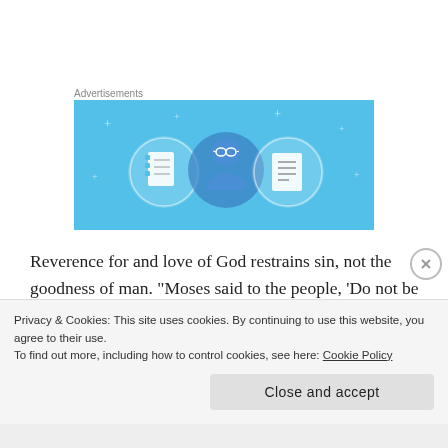Advertisements
[Figure (illustration): Advertisement banner with light blue background showing three circular icons: a notebook, a person with glasses, and a document/list. Decorative plus signs scattered around.]
Reverence for and love of God restrains sin, not the goodness of man. “Moses said to the people, ‘Do not be afraid. God has come to test you so that the fear of God will be with you to keep you from sinning.’” –
Privacy & Cookies: This site uses cookies. By continuing to use this website, you agree to their use.
To find out more, including how to control cookies, see here: Cookie Policy
Close and accept